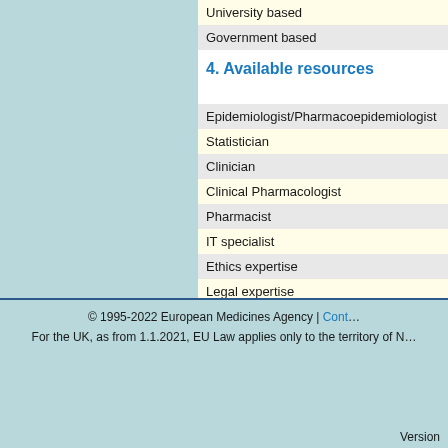University based
Government based
4. Available resources
Epidemiologist/Pharmacoepidemiologist
Statistician
Clinician
Clinical Pharmacologist
Pharmacist
IT specialist
Ethics expertise
Legal expertise
Regulatory expertise
© 1995-2022 European Medicines Agency | Cont… For the UK, as from 1.1.2021, EU Law applies only to the territory of N… Version